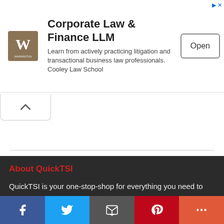[Figure (screenshot): Advertisement banner for Corporate Law & Finance LLM with Washington university logo, text description, and Open button]
About QuickTSI
QuickTSI is your one-stop-shop for everything you need to run your transportation and freight logistics business. Our website allows you to post loads or find trucks, post trucks or find loads, look up carrier profiles, view trucking companies, find truck driving jobs, and DOT medical examiners.
Mailing Address
Quick Transport Solutions, Inc.